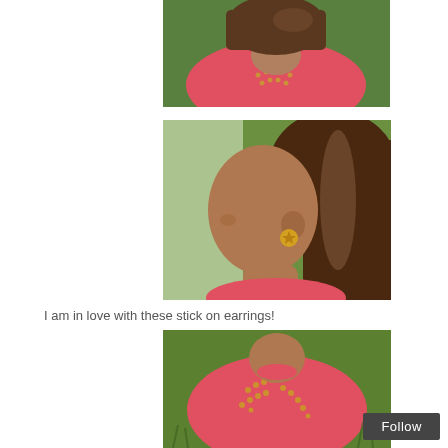[Figure (photo): Close-up photo of an American Girl doll in a coral/pink top with gold dot pattern, shot from above showing shoulders and top of head with brown hair, outdoor green background.]
[Figure (photo): Side profile close-up of an American Girl doll's face with brown skin and dark brown hair, wearing a gold star sticker earring on her ear, with blurred green foliage in background.]
I am in love with these stick on earrings!
[Figure (photo): Photo of an American Girl doll wearing a coral/pink sleeveless top with gold dot decorative pattern, standing in front of green grass background.]